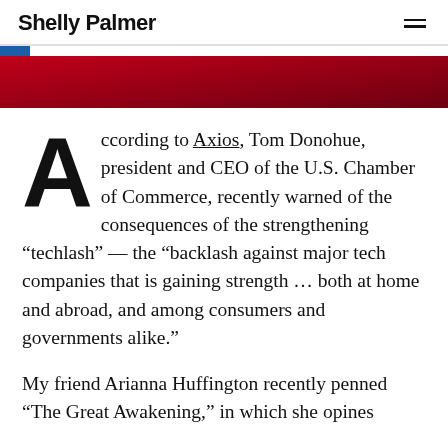Shelly Palmer
[Figure (illustration): Red and blue decorative banner graphic with blue rectangle top-left and red gradient band across full width]
According to Axios, Tom Donohue, president and CEO of the U.S. Chamber of Commerce, recently warned of the consequences of the strengthening “techlash” — the “backlash against major tech companies that is gaining strength … both at home and abroad, and among consumers and governments alike.”
My friend Arianna Huffington recently penned “The Great Awakening,” in which she opines